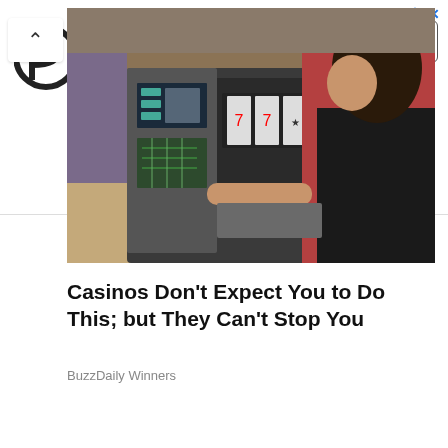[Figure (infographic): Advertisement banner for Alternative Asset Management (Parallaxes Capital, LLC) with a circular logo, ad title, description text, and an Open button. Small ad icons in top-right corner.]
[Figure (photo): Photo of a woman in a red and black jacket inspecting an open slot machine, revealing its internal mechanical components and circuit boards.]
Casinos Don't Expect You to Do This; but They Can't Stop You
BuzzDaily Winners